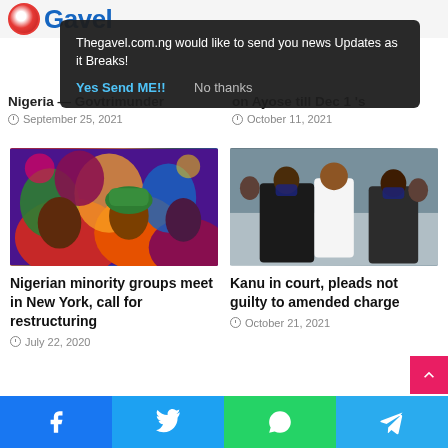[Figure (logo): Gavel news website logo with red circle and blue Gavel text]
Thegavel.com.ng would like to send you news Updates as it Breaks!
Yes Send ME!!	No thanks
Nigeria — Govtrimunder
September 25, 2021
on Ayose till Dec 1 's
October 11, 2021
[Figure (photo): Colorful painting of African women and children with vibrant colors]
Nigerian minority groups meet in New York, call for restructuring
July 22, 2020
[Figure (photo): People in court, Kanu with lawyers wearing face masks]
Kanu in court, pleads not guilty to amended charge
October 21, 2021